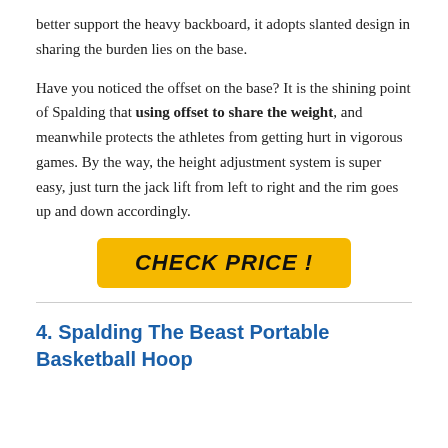better support the heavy backboard, it adopts slanted design in sharing the burden lies on the base.
Have you noticed the offset on the base? It is the shining point of Spalding that using offset to share the weight, and meanwhile protects the athletes from getting hurt in vigorous games. By the way, the height adjustment system is super easy, just turn the jack lift from left to right and the rim goes up and down accordingly.
[Figure (other): Yellow highlighted button with bold italic text 'CHECK PRICE !']
4. Spalding The Beast Portable Basketball Hoop